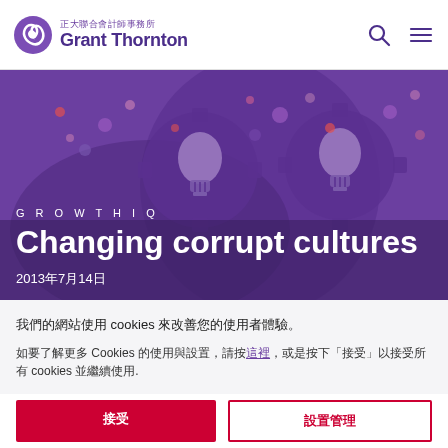[Figure (logo): Grant Thornton logo with purple spiral icon, Chinese text 正大聯合會計師事務所 and English text Grant Thornton]
[Figure (illustration): Purple hero banner with light bulb illustrations on gear backgrounds and colorful dots, GrowthIQ branding]
GROWTHIQ
Changing corrupt cultures
2013年7月14日
我們的網站使用 cookies 來改善您的使用者體驗。
如要了解更多 Cookies 的使用與設置，請按這裡，或是按下「接受」以接受所有 cookies 並繼續使用.
接受
設置管理